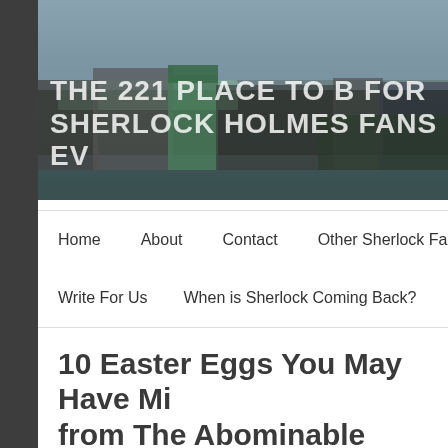[Figure (photo): Website header banner showing an aerial/cityscape photo of London with buildings near the Thames river. Overlaid text reads 'THE 221 PLACE TO B FOR SHERLOCK HOLMES FANS EV' in large white uppercase letters.]
Home   About   Contact   Other Sherlock Fan   Write For Us   When is Sherlock Coming Back?   Ch
10 Easter Eggs You May Have Mi from The Abominable Bride
POSTED ON FEBRUARY 3, 2016 BY SHERLOCK'S HOME